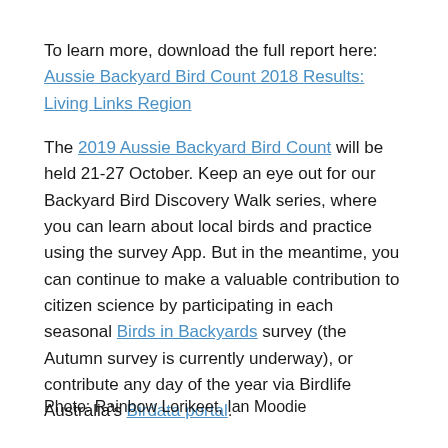To learn more, download the full report here: Aussie Backyard Bird Count 2018 Results: Living Links Region
The 2019 Aussie Backyard Bird Count will be held 21-27 October. Keep an eye out for our Backyard Bird Discovery Walk series, where you can learn about local birds and practice using the survey App. But in the meantime, you can continue to make a valuable contribution to citizen science by participating in each seasonal Birds in Backyards survey (the Autumn survey is currently underway), or contribute any day of the year via Birdlife Australia's Birdata portal.
Photo: Rainbow Lorikeet, Ian Moodie